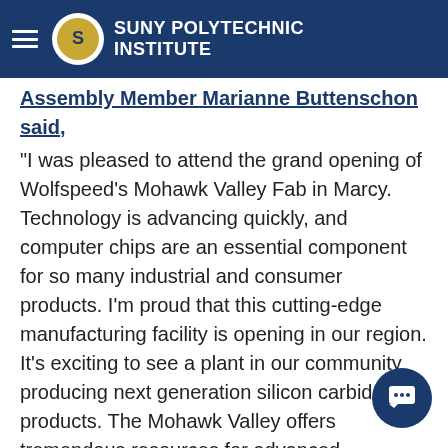SUNY POLYTECHNIC INSTITUTE
Assembly Member Marianne Buttenschon said, "I was pleased to attend the grand opening of Wolfspeed's Mohawk Valley Fab in Marcy. Technology is advancing quickly, and computer chips are an essential component for so many industrial and consumer products. I'm proud that this cutting-edge manufacturing facility is opening in our region. It's exciting to see a plant in our community producing next generation silicon carbide products. The Mohawk Valley offers tremendous resources for advanced manufacturing with young scientists and engineers being trained nearby at SUNY Poly and advanced research taking place at the US Air Force Research Laboratory in Rome, this